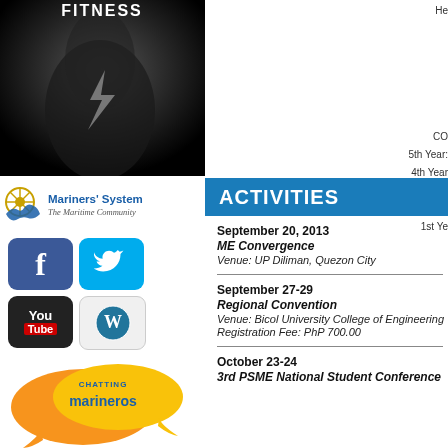[Figure (photo): Dark fitness themed image with 'FITNESS' text at top, showing athletic figure in dark background]
He
CO
5th Year:
4th Year
3rd Ye
2nd Ye
1st Ye
[Figure (logo): Mariners' System - The Maritime Community logo with ship wheel icon and dolphin]
[Figure (infographic): Social media icons: Facebook, Twitter, YouTube, WordPress]
ACTIVITIES
September 20, 2013
ME Convergence
Venue: UP Diliman, Quezon City
September 27-29
Regional Convention
Venue: Bicol University College of Engineering
Registration Fee: PhP 700.00
October 23-24
3rd PSME National Student Conference
[Figure (illustration): Chatting Marineros speech bubble illustration with orange and yellow chat bubbles]